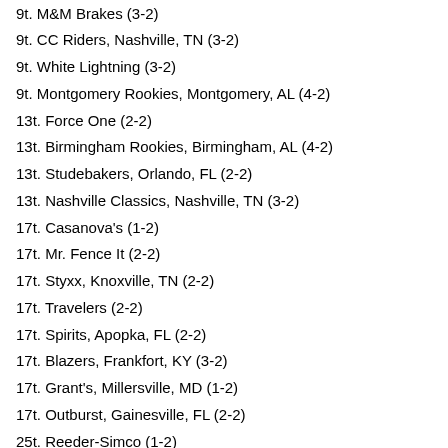9t. M&M Brakes (3-2)
9t. CC Riders, Nashville, TN (3-2)
9t. White Lightning (3-2)
9t. Montgomery Rookies, Montgomery, AL (4-2)
13t. Force One (2-2)
13t. Birmingham Rookies, Birmingham, AL (4-2)
13t. Studebakers, Orlando, FL (2-2)
13t. Nashville Classics, Nashville, TN (3-2)
17t. Casanova's (1-2)
17t. Mr. Fence It (2-2)
17t. Styxx, Knoxville, TN (2-2)
17t. Travelers (2-2)
17t. Spirits, Apopka, FL (2-2)
17t. Blazers, Frankfort, KY (3-2)
17t. Grant's, Millersville, MD (1-2)
17t. Outburst, Gainesville, FL (2-2)
25t. Reeder-Simco (1-2)
25t. Smith & Neilson (1-2)
25t. Thein Well Company, Rochester, MN (1-2)